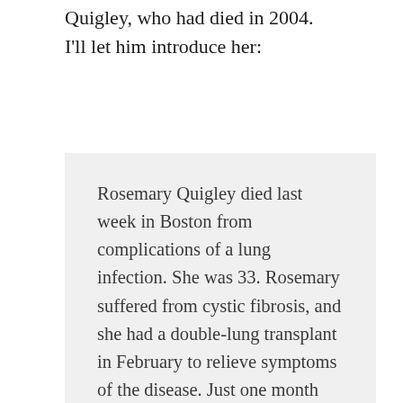Quigley, who had died in 2004. I'll let him introduce her:
Rosemary Quigley died last week in Boston from complications of a lung infection. She was 33. Rosemary suffered from cystic fibrosis, and she had a double-lung transplant in February to relieve symptoms of the disease. Just one month later she wrote about her recovery from the transplant in this Slate 'Diary.' She got married in May [2004] to Jeffrey Harris. At her funeral on Saturday, Jeffrey eulogized her as a 'fireball.' There is no better description of her. A medical ethics professor at Baylor College of Medicine, she was a poet, a lawyer, a swimmer, a tireless patient's rights advocate, a troublemaker, a beloved daughter, a delighted wife, and a